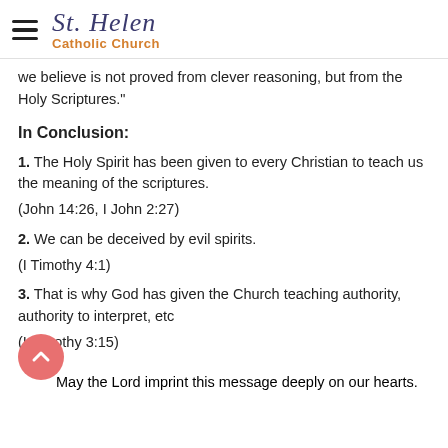St. Helen Catholic Church
we believe is not proved from clever reasoning, but from the Holy Scriptures."
In Conclusion:
1. The Holy Spirit has been given to every Christian to teach us the meaning of the scriptures.
(John 14:26, I John 2:27)
2. We can be deceived by evil spirits.
(I Timothy 4:1)
3. That is why God has given the Church teaching authority, authority to interpret, etc
(I Timothy 3:15)
May the Lord imprint this message deeply on our hearts.